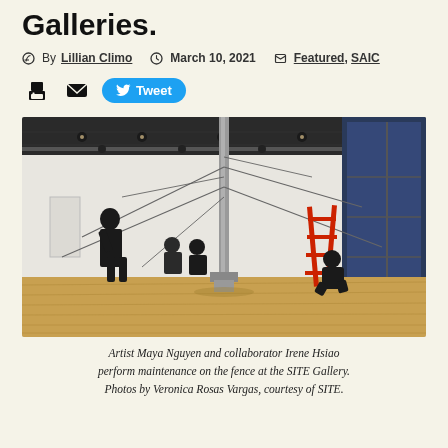Galleries.
By Lillian Climo  March 10, 2021  Featured, SAIC
[Figure (photo): Artist Maya Nguyen and collaborator Irene Hsiao perform maintenance on a metal pole fence installation at the SITE Gallery. A person in black stands on the left pulling a wire, others sit on the floor, and a red ladder stands on the right. Large windows visible on the right wall. The gallery has a hardwood floor and track lighting.]
Artist Maya Nguyen and collaborator Irene Hsiao perform maintenance on the fence at the SITE Gallery. Photos by Veronica Rosas Vargas, courtesy of SITE.